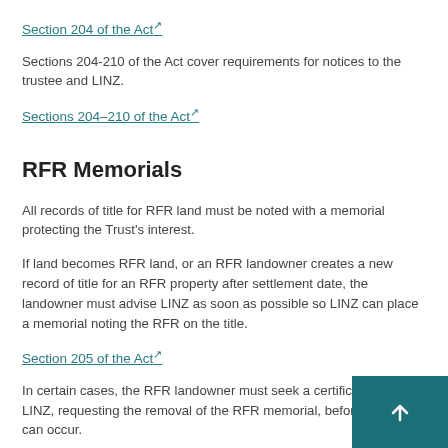Section 204 of the Act
Sections 204-210 of the Act cover requirements for notices to the trustee and LINZ.
Sections 204–210 of the Act
RFR Memorials
All records of title for RFR land must be noted with a memorial protecting the Trust's interest.
If land becomes RFR land, or an RFR landowner creates a new record of title for an RFR property after settlement date, the landowner must advise LINZ as soon as possible so LINZ can place a memorial noting the RFR on the title.
Section 205 of the Act
In certain cases, the RFR landowner must seek a certificate from LINZ, requesting the removal of the RFR memorial, before a transfer can occur.
Section 208 of the Act